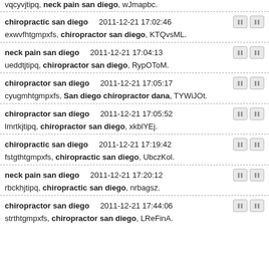vqcyvjtipq, neck pain san diego, wJmapbc.
chiropractic san diego   2011-12-21 17:02:46
exwvfhtgmpxfs, chiropractor san diego, KTQvsML.
neck pain san diego   2011-12-21 17:04:13
ueddtjtipq, chiropractor san diego, RypOToM.
chiropractor san diego   2011-12-21 17:05:17
cyugmhtgmpxfs, San diego chiropractor dana, TYWiJOt.
chiropractor san diego   2011-12-21 17:05:52
lmrtkjtipq, chiropractor san diego, xkblYEj.
chiropractic san diego   2011-12-21 17:19:42
fstgthtgmpxfs, chiropractic san diego, UbczKol.
neck pain san diego   2011-12-21 17:20:12
rbckhjtipq, chiropractic san diego, nrbagsz.
chiropractor san diego   2011-12-21 17:44:06
strthtgmpxfs, chiropractor san diego, LReFinA.